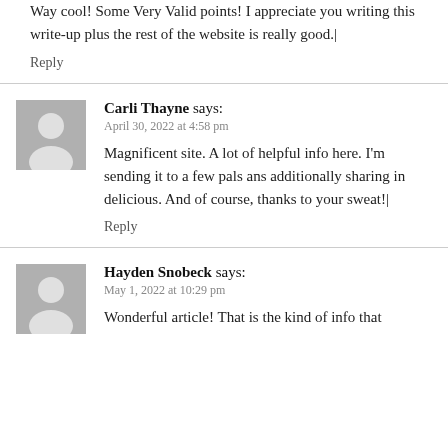Way cool! Some Very Valid points! I appreciate you writing this write-up plus the rest of the website is really good.|
Reply
Carli Thayne says:
April 30, 2022 at 4:58 pm
Magnificent site. A lot of helpful info here. I'm sending it to a few pals ans additionally sharing in delicious. And of course, thanks to your sweat!|
Reply
Hayden Snobeck says:
May 1, 2022 at 10:29 pm
Wonderful article! That is the kind of info that